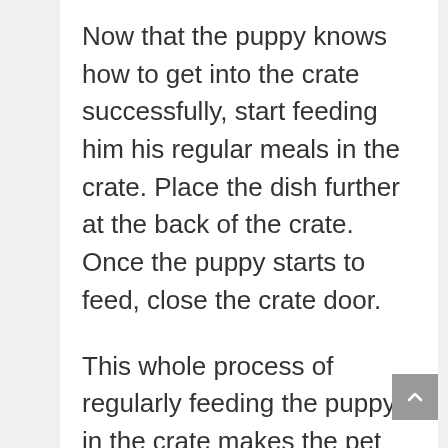Now that the puppy knows how to get into the crate successfully, start feeding him his regular meals in the crate. Place the dish further at the back of the crate. Once the puppy starts to feed, close the crate door.
This whole process of regularly feeding the puppy in the crate makes the pet have a good association with the crate. At first, you may open the crate door as soon as the puppy